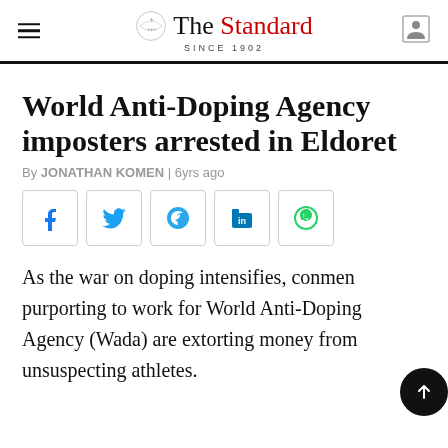The Standard — SINCE 1902
World Anti-Doping Agency imposters arrested in Eldoret
By JONATHAN KOMEN | 6yrs ago
As the war on doping intensifies, conmen purporting to work for World Anti-Doping Agency (Wada) are extorting money from unsuspecting athletes.